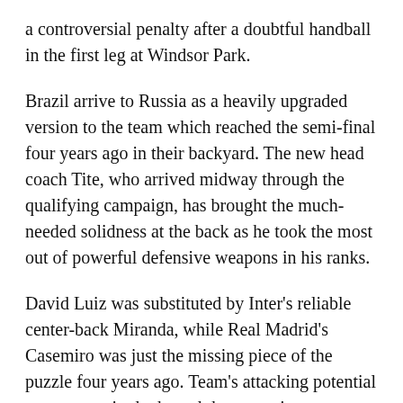a controversial penalty after a doubtful handball in the first leg at Windsor Park.
Brazil arrive to Russia as a heavily upgraded version to the team which reached the semi-final four years ago in their backyard. The new head coach Tite, who arrived midway through the qualifying campaign, has brought the much-needed solidness at the back as he took the most out of powerful defensive weapons in his ranks.
David Luiz was substituted by Inter's reliable center-back Miranda, while Real Madrid's Casemiro was just the missing piece of the puzzle four years ago. Team's attacking potential never came in doubt and the sovereign top-spot finish in complicated South American World Cup Qualifications came as a result.